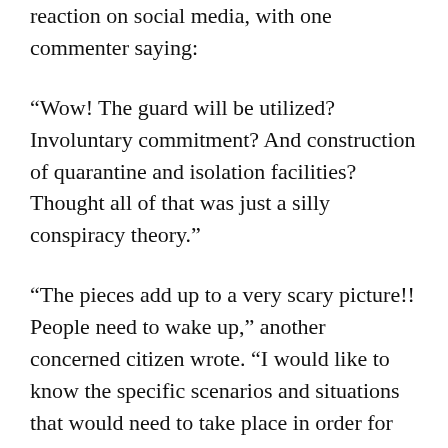reaction on social media, with one commenter saying:
“Wow! The guard will be utilized? Involuntary commitment? And construction of quarantine and isolation facilities? Thought all of that was just a silly conspiracy theory.”
“The pieces add up to a very scary picture!! People need to wake up,” another concerned citizen wrote. “I would like to know the specific scenarios and situations that would need to take place in order for these actions to be implemented. They are too open ended and vague which leads to open door interpretation and neglected use which